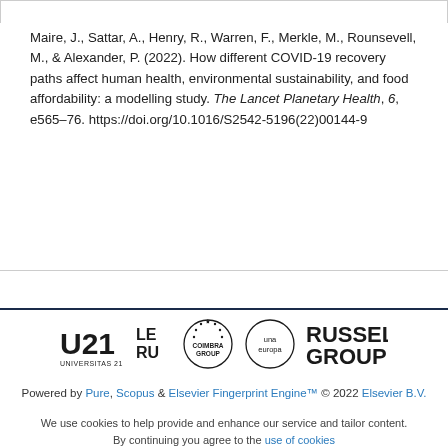Maire, J., Sattar, A., Henry, R., Warren, F., Merkle, M., Rounsevell, M., & Alexander, P. (2022). How different COVID-19 recovery paths affect human health, environmental sustainability, and food affordability: a modelling study. The Lancet Planetary Health, 6, e565–76. https://doi.org/10.1016/S2542-5196(22)00144-9
[Figure (logo): University consortium logos: Universitas 21 (U21), LERU (League of European Research Universities), Coimbra Group, una europa, Russell Group]
Powered by Pure, Scopus & Elsevier Fingerprint Engine™ © 2022 Elsevier B.V.
We use cookies to help provide and enhance our service and tailor content. By continuing you agree to the use of cookies